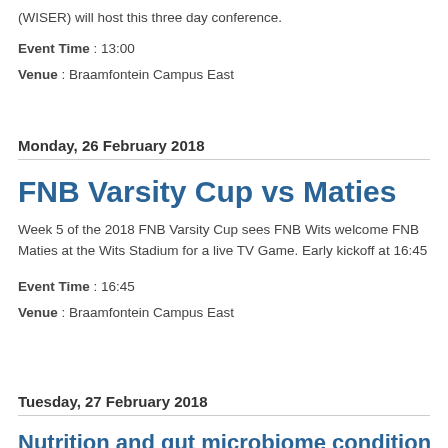(WISER) will host this three day conference.
Event Time : 13:00
Venue : Braamfontein Campus East
Monday, 26 February 2018
FNB Varsity Cup vs Maties
Week 5 of the 2018 FNB Varsity Cup sees FNB Wits welcome FNB Maties at the Wits Stadium for a live TV Game. Early kickoff at 16:45
Event Time : 16:45
Venue : Braamfontein Campus East
Tuesday, 27 February 2018
Nutrition and gut microbiome conditions The